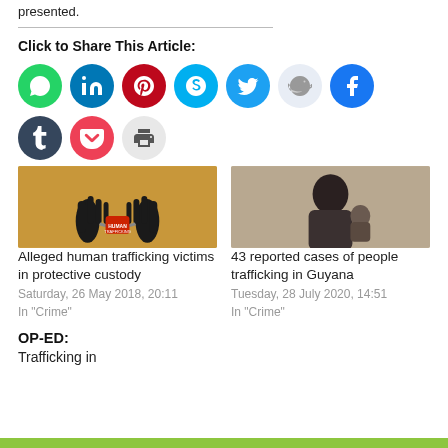presented.
Click to Share This Article:
[Figure (infographic): Social share buttons in colored circles: WhatsApp (green), LinkedIn (blue), Pinterest (red), Skype (light blue), Twitter (blue), Reddit (light grey), Facebook (blue), Tumblr (dark blue), Pocket (red), Print (grey)]
[Figure (photo): Two related article thumbnails side by side. Left: human trafficking graphic with silhouette hands and red tag. Right: photo of a person holding a child.]
Alleged human trafficking victims in protective custody
Saturday, 26 May 2018, 20:11
In "Crime"
43 reported cases of people trafficking in Guyana
Tuesday, 28 July 2020, 14:51
In "Crime"
OP-ED:
Trafficking in